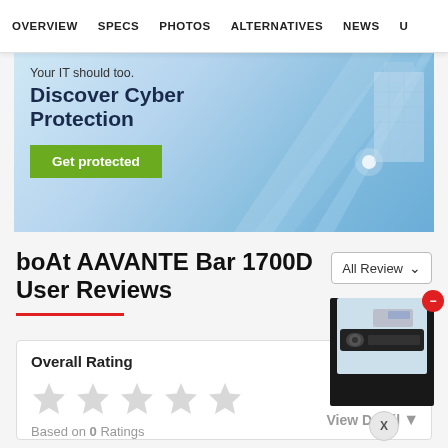OVERVIEW  SPECS  PHOTOS  ALTERNATIVES  NEWS  U...
[Figure (illustration): Advertisement banner with text: 'Your IT should too. Discover Cyber Protection' with a green 'Get protected' button and blue tech graphic background]
boAt AAVANTE Bar 1700D User Reviews
[Figure (photo): Product popup showing boAt AAVANTE Bar 1700D soundbar product box image with a red minus button and an X close button]
Overall Rating
Based on 0 Ratings
View Detail